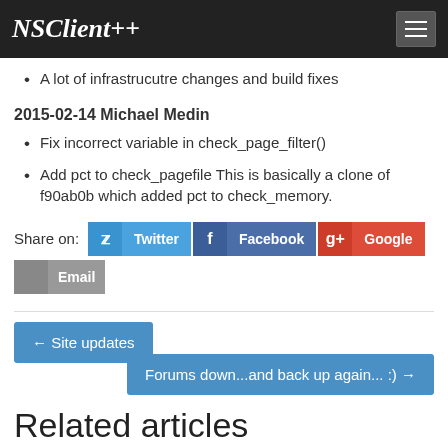NSClient++
A lot of infrastrucutre changes and build fixes
2015-02-14 Michael Medin
Fix incorrect variable in check_page_filter()
Add pct to check_pagefile This is basically a clone of f90ab0b which added pct to check_memory.
Share on: Twitter Facebook Google Email
← Site updates
Forums down...and back up again... :) →
Related articles